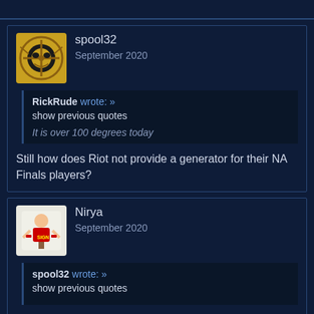spool32
September 2020
RickRude wrote: »
show previous quotes

It is over 100 degrees today
Still how does Riot not provide a generator for their NA Finals players?
Nirya
September 2020
spool32 wrote: »
show previous quotes